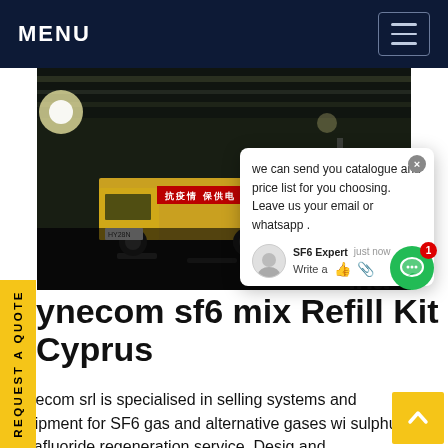MENU
[Figure (photo): Nighttime photo of a yellow truck in a tunnel or covered road area, with overhead lights visible. A red banner with Chinese text is on the truck.]
we can send you catalogue and price list for you choosing. Leave us your email or whatsapp . SF6 Expert just now Write a
ynecom sf6 mix Refill Kit Cyprus
Synecom srl is specialised in selling systems and equipment for SF6 gas and alternative gases wi sulphur hexafluoride regeneration service. Desig and manufacturing pyrolysis plants for. Get price